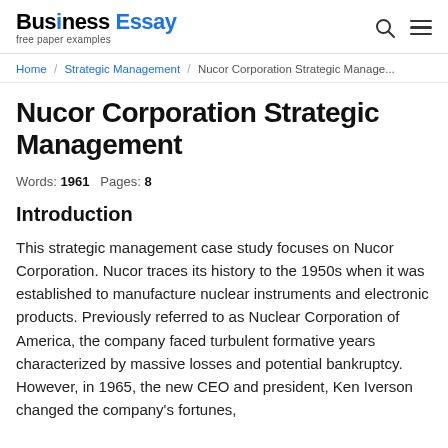Business Essay — free paper examples
Home / Strategic Management / Nucor Corporation Strategic Manage...
Nucor Corporation Strategic Management
Words: 1961   Pages: 8
Introduction
This strategic management case study focuses on Nucor Corporation. Nucor traces its history to the 1950s when it was established to manufacture nuclear instruments and electronic products. Previously referred to as Nuclear Corporation of America, the company faced turbulent formative years characterized by massive losses and potential bankruptcy. However, in 1965, the new CEO and president, Ken Iverson changed the company's fortunes,